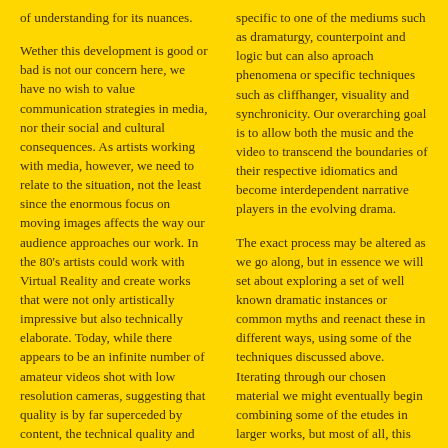of understanding for its nuances.
Wether this development is good or bad is not our concern here, we have no wish to value communication strategies in media, nor their social and cultural consequences. As artists working with media, however, we need to relate to the situation, not the least since the enormous focus on moving images affects the way our audience approaches our work. In the 80’s artists could work with Virtual Reality and create works that were not only artistically impressive but also technically elaborate. Today, while there appears to be an infinite number of amateur videos shot with low resolution cameras, suggesting that quality is by far superceded by content, the technical quality and manpower put into producing the big blockbuster
specific to one of the mediums such as dramaturgy, counterpoint and logic but can also aproach phenomena or specific techniques such as cliffhanger, visuality and synchronicity. Our overarching goal is to allow both the music and the video to transcend the boundaries of their respective idiomatics and become interdependent narrative players in the evolving drama.
The exact process may be altered as we go along, but in essence we will set about exploring a set of well known dramatic instances or common myths and reenact these in different ways, using some of the techniques discussed above. Iterating through our chosen material we might eventually begin combining some of the etudes in larger works, but most of all, this